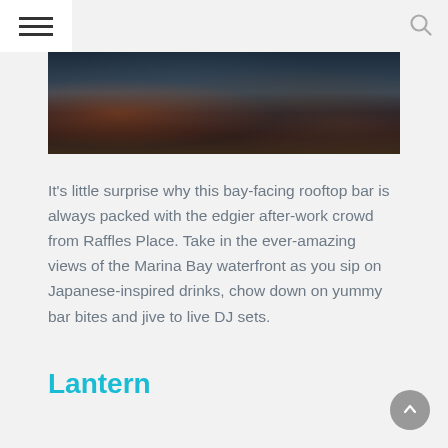Navigation menu and search icon
[Figure (photo): Crowded indoor rooftop bar scene with people seated at tables, dark ambient lighting with warm tones]
It's little surprise why this bay-facing rooftop bar is always packed with the edgier after-work crowd from Raffles Place. Take in the ever-amazing views of the Marina Bay waterfront as you sip on Japanese-inspired drinks, chow down on yummy bar bites and jive to live DJ sets.
Lantern